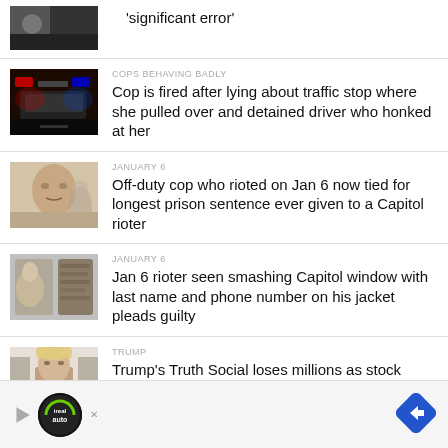[Figure (photo): Partial news thumbnail at top]
'significant error'
COPS BEHAVING BADLY
[Figure (photo): Police car with flashing lights at night]
Cop is fired after lying about traffic stop where she pulled over and detained driver who honked at her
JANUARY 6
[Figure (photo): Man's face close-up]
Off-duty cop who rioted on Jan 6 now tied for longest prison sentence ever given to a Capitol rioter
JANUARY 6
[Figure (photo): Hands in gloves near surface]
Jan 6 rioter seen smashing Capitol window with last name and phone number on his jacket pleads guilty
TRUMP
[Figure (photo): Trump speaking]
Trump's Truth Social loses millions as stock
[Figure (infographic): Advertisement bar at bottom with ireal auto logo and navigation arrow]